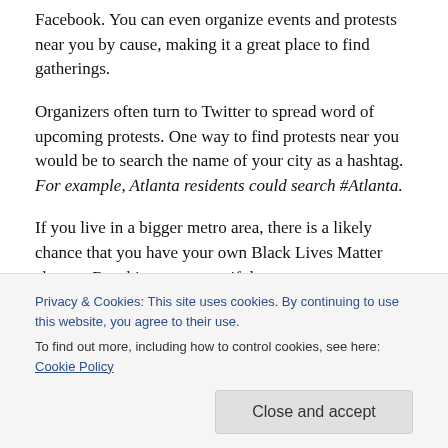Facebook. You can even organize events and protests near you by cause, making it a great place to find gatherings.
Organizers often turn to Twitter to spread word of upcoming protests. One way to find protests near you would be to search the name of your city as a hashtag. For example, Atlanta residents could search #Atlanta.
If you live in a bigger metro area, there is a likely chance that you have your own Black Lives Matter chapter. Reaching out to see if there are any ways
Privacy & Cookies: This site uses cookies. By continuing to use this website, you agree to their use.
To find out more, including how to control cookies, see here: Cookie Policy
Donate to bail funds and other